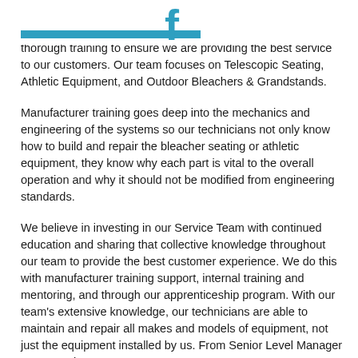thorough training to ensure we are providing the best service to our customers. Our team focuses on Telescopic Seating, Athletic Equipment, and Outdoor Bleachers & Grandstands.
Manufacturer training goes deep into the mechanics and engineering of the systems so our technicians not only know how to build and repair the bleacher seating or athletic equipment, they know why each part is vital to the overall operation and why it should not be modified from engineering standards.
We believe in investing in our Service Team with continued education and sharing that collective knowledge throughout our team to provide the best customer experience. We do this with manufacturer training support, internal training and mentoring, and through our apprenticeship program. With our team's extensive knowledge, our technicians are able to maintain and repair all makes and models of equipment, not just the equipment installed by us. From Senior Level Manager to Apprentice, our